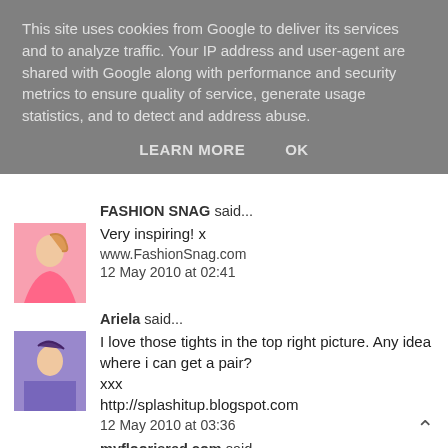This site uses cookies from Google to deliver its services and to analyze traffic. Your IP address and user-agent are shared with Google along with performance and security metrics to ensure quality of service, generate usage statistics, and to detect and address abuse.
LEARN MORE   OK
FASHION SNAG said...
[Figure (photo): Avatar image of FASHION SNAG commenter - person in pink]
Very inspiring! x
www.FashionSnag.com
12 May 2010 at 02:41
Ariela said...
[Figure (photo): Avatar image of Ariela commenter]
I love those tights in the top right picture. Any idea where i can get a pair?
xxx
http://splashitup.blogspot.com
12 May 2010 at 03:36
myfloorisred.com said...
[Figure (photo): Avatar image of myfloorisred.com commenter]
Love this collage, so inspiring!
12 May 2010 at 06:55